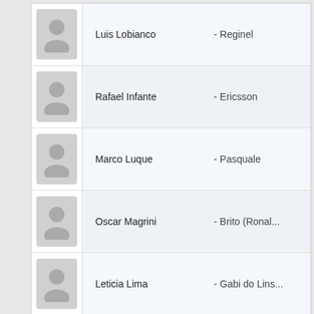Luis Lobianco - Reginel
Rafael Infante - Ericsson
Marco Luque - Pasquale
Oscar Magrini - Brito (Ronal...
Leticia Lima - Gabi do Lins...
Tatá Werneck - Eloisa
Rest of cast listed alphabetically:
Emiliano D'Avila - Máicol da S...
Paulinho Serra - Zélio